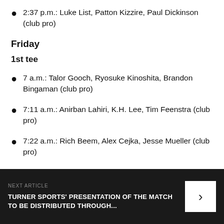2:37 p.m.: Luke List, Patton Kizzire, Paul Dickinson (club pro)
Friday
1st tee
7 a.m.: Talor Gooch, Ryosuke Kinoshita, Brandon Bingaman (club pro)
7:11 a.m.: Anirban Lahiri, K.H. Lee, Tim Feenstra (club pro)
7:22 a.m.: Rich Beem, Alex Cejka, Jesse Mueller (club pro)
NEXT ARTICLE
TURNER SPORTS' PRESENTATION OF THE MATCH TO BE DISTRIBUTED THROUGH...